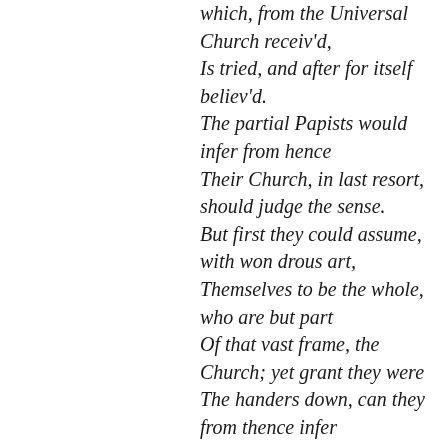which, from the Universal Church receiv'd, Is tried, and after for itself believ'd. The partial Papists would infer from hence Their Church, in last resort, should judge the sense. But first they could assume, with won drous art, Themselves to be the whole, who are but part Of that vast frame, the Church; yet grant they were The handers down, can they from thence infer A right t' interpret? or would they alone Who brought the present, claim it for their own? The book 's a common largess to mankind, Not more for them than every man design'd; The welcome news is in the letter found;